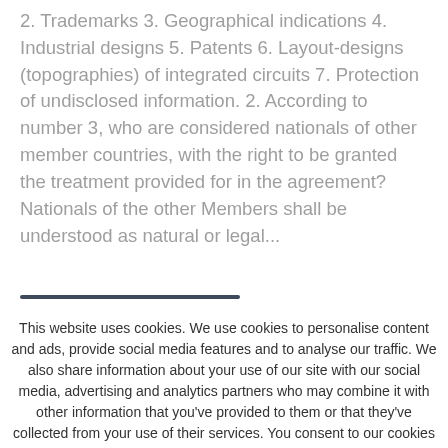2. Trademarks 3. Geographical indications 4. Industrial designs 5. Patents 6. Layout-designs (topographies) of integrated circuits 7. Protection of undisclosed information. 2. According to number 3, who are considered nationals of other member countries, with the right to be granted the treatment provided for in the agreement? Nationals of the other Members shall be understood as natural or legal...
This website uses cookies. We use cookies to personalise content and ads, provide social media features and to analyse our traffic. We also share information about your use of our site with our social media, advertising and analytics partners who may combine it with other information that you've provided to them or that they've collected from your use of their services. You consent to our cookies if you continue to use our website.
Ok